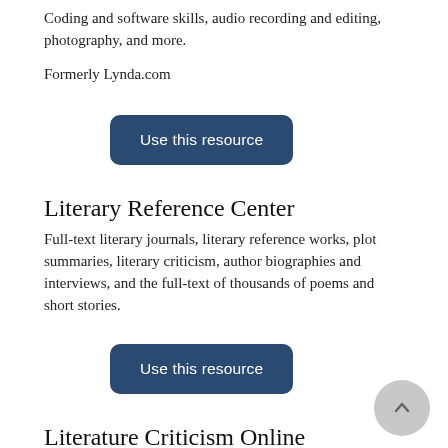Coding and software skills, audio recording and editing, photography, and more.
Formerly Lynda.com
[Figure (other): Blue rounded button labeled 'Use this resource']
Literary Reference Center
Full-text literary journals, literary reference works, plot summaries, literary criticism, author biographies and interviews, and the full-text of thousands of poems and short stories.
[Figure (other): Blue rounded button labeled 'Use this resource']
Literature Criticism Online
Access to popular literary criticism series, covering authors who lived from 1800 through